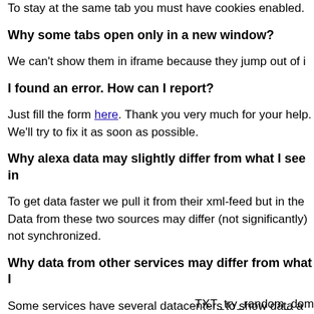To stay at the same tab you must have cookies enabled.
Why some tabs open only in a new window?
We can't show them in iframe because they jump out of i
I found an error. How can I report?
Just fill the form here. Thank you very much for your help. We'll try to fix it as soon as possible.
Why alexa data may slightly differ from what I see in
To get data faster we pull it from their xml-feed but in the Data from these two sources may differ (not significantly) not synchronized.
Why data from other services may differ from what I
Some services have several datacenters to show data a
TXT_try_random_dom